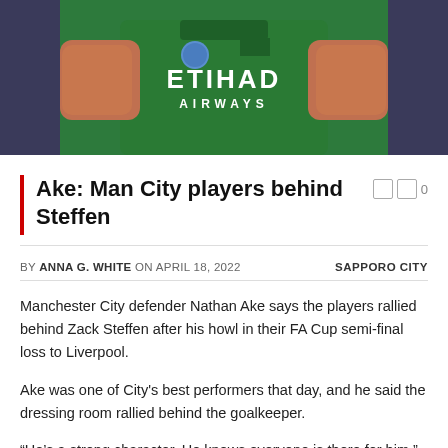[Figure (photo): Manchester City player wearing green Etihad Airways jersey, hands on hips, cropped torso shot]
Ake: Man City players behind Steffen
BY ANNA G. WHITE ON APRIL 18, 2022   SAPPORO CITY
Manchester City defender Nathan Ake says the players rallied behind Zack Steffen after his howl in their FA Cup semi-final loss to Liverpool.
Ake was one of City's best performers that day, and he said the dressing room rallied behind the goalkeeper.
“He’s a strong character. He knows everyone is there for him,”